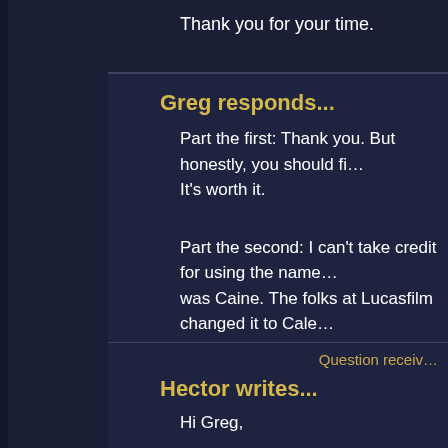Thank you for your time.
Greg responds...
Part the first: Thank you. But honestly, you should fi… It's worth it.
Part the second: I can't take credit for using the name… was Caine. The folks at Lucasfilm changed it to Cale… for you.)
Part the third: The answers would amount to spoilers…
Question receiv…
Hector writes...
Hi Greg,
How did you come to a decision for Kanan's(Caleb) n… forward to see the character of Depa Billaba come to… until now.